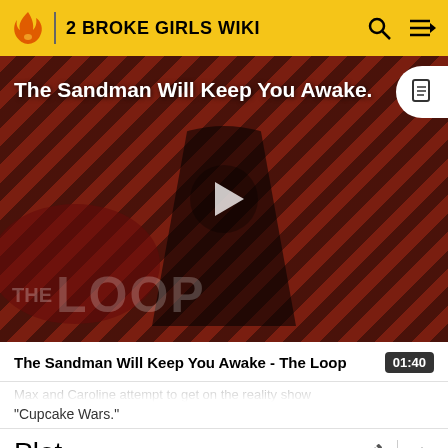2 BROKE GIRLS WIKI
[Figure (screenshot): Video thumbnail for 'The Sandman Will Keep You Awake - The Loop' showing a dark figure in a black cape against a red diagonal striped background with THE LOOP watermark, and a play button in the center.]
The Sandman Will Keep You Awake - The Loop
01:40
"Cupcake Wars."
Plot